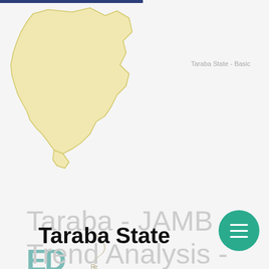[Figure (map): Yellow silhouette map of Taraba State, Nigeria]
Taraba State - Basic
Taraba State - Basic
[Figure (logo): ED ATION DATA logo with teal letters and a bird/feather icon]
Taraba - JAMB Trend Analysis - Degree Prog.
Taraba - JAMB Trend Analysis - Degree Prog.
Taraba State